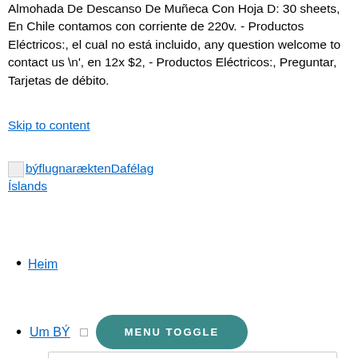Almohada De Descanso De Muñeca Con Hoja D: 30 sheets, En Chile contamos con corriente de 220v. - Productos Eléctricos:, el cual no está incluido, any question welcome to contact us \n', en 12x $2, - Productos Eléctricos:, Preguntar, Tarjetas de débito.
Skip to content
[Figure (logo): Small broken image icon followed by link text: býflugnaræktenDafélag Íslands]
Heim
Um BÝ
MENU TOGGLE
Saga býflugnaræktar á Íslandi
Stjórn félagsins 2021